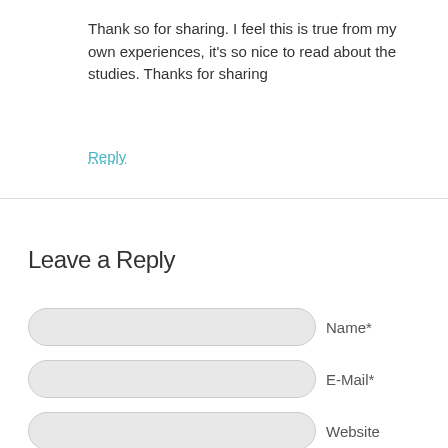Thank so for sharing. I feel this is true from my own experiences, it’s so nice to read about the studies. Thanks for sharing
Reply
Leave a Reply
Name*
E-Mail*
Website